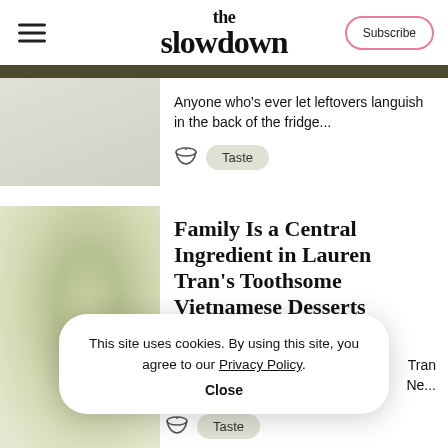the slowdown — Subscribe
Anyone who's ever let leftovers languish in the back of the fridge...
Taste
Family Is a Central Ingredient in Lauren Tran's Toothsome Vietnamese Desserts
Tran
. Ne...
Taste
This site uses cookies. By using this site, you agree to our Privacy Policy. Close